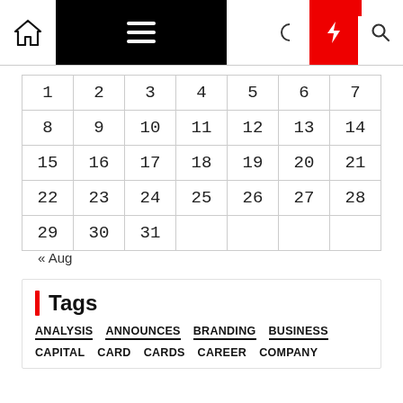Navigation bar with home, menu, moon, lightning, search icons
| 1 | 2 | 3 | 4 | 5 | 6 | 7 |
| 8 | 9 | 10 | 11 | 12 | 13 | 14 |
| 15 | 16 | 17 | 18 | 19 | 20 | 21 |
| 22 | 23 | 24 | 25 | 26 | 27 | 28 |
| 29 | 30 | 31 |  |  |  |  |
« Aug
Tags
ANALYSIS
ANNOUNCES
BRANDING
BUSINESS
CAPITAL
CARD
CARDS
CAREER
COMPANY